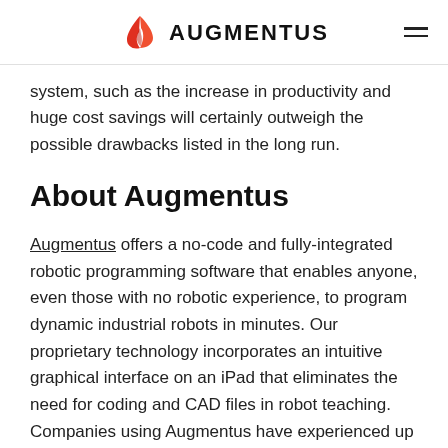AUGMENTUS
system, such as the increase in productivity and huge cost savings will certainly outweigh the possible drawbacks listed in the long run.
About Augmentus
Augmentus offers a no-code and fully-integrated robotic programming software that enables anyone, even those with no robotic experience, to program dynamic industrial robots in minutes. Our proprietary technology incorporates an intuitive graphical interface on an iPad that eliminates the need for coding and CAD files in robot teaching. Companies using Augmentus have experienced up to 70% cost reduction and 17 times faster deployments across a wide variety of applications, such as spraying, palletizing, welding,